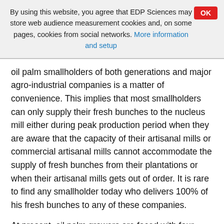By using this website, you agree that EDP Sciences may store web audience measurement cookies and, on some pages, cookies from social networks. More information and setup
oil palm smallholders of both generations and major agro-industrial companies is a matter of convenience. This implies that most smallholders can only supply their fresh bunches to the nucleus mill either during peak production period when they are aware that the capacity of their artisanal mills or commercial artisanal mills cannot accommodate the supply of fresh bunches from their plantations or when their artisanal mills gets out of order. It is rare to find any smallholder today who delivers 100% of his fresh bunches to any of these companies.
At present, oil palm growers are faced with four major problems which include: very little access to credit, availability of certified selected seeds, inputs, and technical